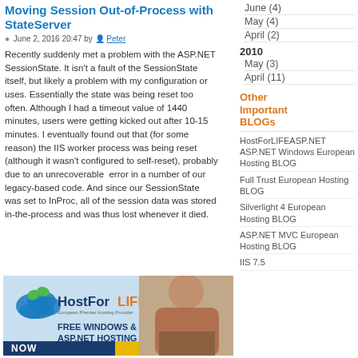Moving Session Out-of-Process with StateServer
June 2, 2016 20:47 by Peter
Recently suddenly met a problem with the ASP.NET SessionState. It isn't a fault of the SessionState itself, but likely a problem with my configuration or uses. Essentially the state was being reset too often. Although I had a timeout value of 1440 minutes, users were getting kicked out after 10-15 minutes. I eventually found out that (for some reason) the IIS worker process was being reset (although it wasn't configured to self-reset), probably due to an unrecoverable error in a number of our legacy-based code. And since our SessionState was set to InProc, all of the session data was stored in-the-process and was thus lost whenever it died.
June (4)
May (4)
April (2)
2010
May (3)
April (11)
Other Important BLOGs
HostForLIFEASP.NET ASP.NET Windows European Hosting BLOG
Full Trust European Hosting BLOG
Silverlight 4 European Hosting BLOG
ASP.NET MVC European Hosting BLOG
IIS 7.5
[Figure (photo): HostForLIFE banner advertisement for Free Windows & ASP.NET Hosting, featuring company logo with cloud icon and a smiling woman]